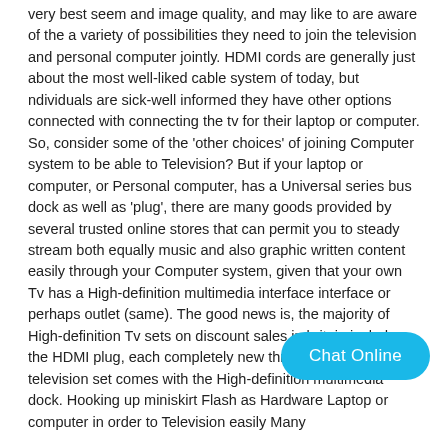very best seem and image quality, and may like to are aware of the a variety of possibilities they need to join the television and personal computer jointly. HDMI cords are generally just about the most well-liked cable system of today, but ndividuals are sick-well informed they have other options connected with connecting the tv for their laptop or computer. So, consider some of the 'other choices' of joining Computer system to be able to Television? But if your laptop or computer, or Personal computer, has a Universal series bus dock as well as 'plug', there are many goods provided by several trusted online stores that can permit you to steady stream both equally music and also graphic written content easily through your Computer system, given that your own Tv has a High-definition multimedia interface interface or perhaps outlet (same). The good news is, the majority of High-definition Tv sets on discount sales in britain include the HDMI plug, each completely new three dimensional television set comes with the High-definition multimedia dock. Hooking up miniskirt Flash as… Hardware Laptop or computer in order to Television easily Many
[Figure (other): Chat Online button - a rounded pill-shaped button with cyan/blue background and white text reading 'Chat Online']